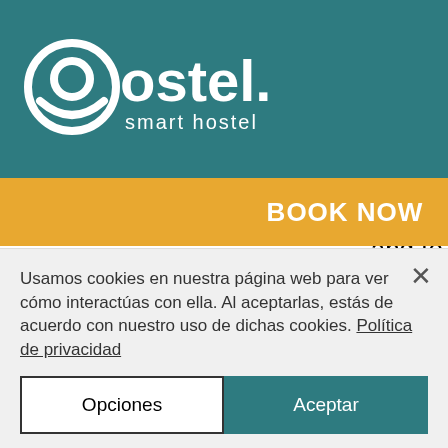[Figure (logo): Oostel smart hostel logo — white text on teal background with circular graphic element]
BOOK NOW
notify you by providing you with an updated version of the Terms of Service when you log-in. You are responsible for regularly reviewing the Terms of Service, including, without limitation, by checking the date of "Last Update" at the bottom of this document. Continued use of the Services after any such changes shall constitute your consent to be bound by
Usamos cookies en nuestra página web para ver cómo interactúas con ella. Al aceptarlas, estás de acuerdo con nuestro uso de dichas cookies. Política de privacidad
Opciones
Aceptar